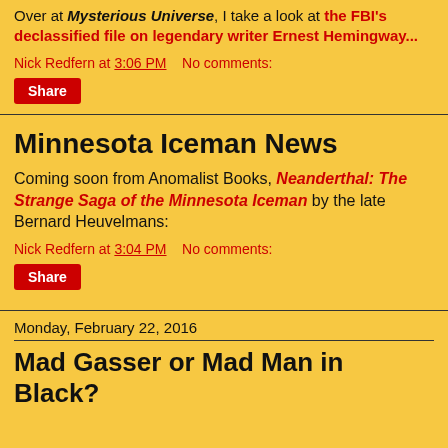Over at Mysterious Universe, I take a look at the FBI's declassified file on legendary writer Ernest Hemingway...
Nick Redfern at 3:06 PM    No comments:
Share
Minnesota Iceman News
Coming soon from Anomalist Books, Neanderthal: The Strange Saga of the Minnesota Iceman by the late Bernard Heuvelmans:
Nick Redfern at 3:04 PM    No comments:
Share
Monday, February 22, 2016
Mad Gasser or Mad Man in Black?